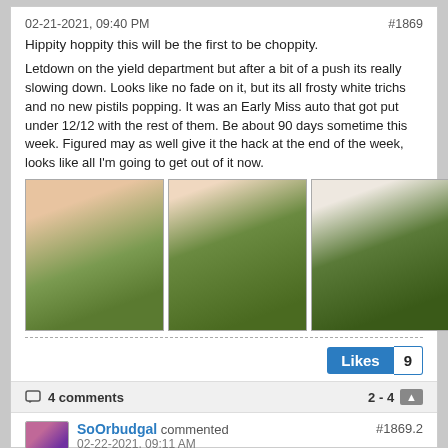02-21-2021, 09:40 PM   #1869
Hippity hoppity this will be the first to be choppity.
Letdown on the yield department but after a bit of a push its really slowing down. Looks like no fade on it, but its all frosty white trichs and no new pistils popping. It was an Early Miss auto that got put under 12/12 with the rest of them. Be about 90 days sometime this week. Figured may as well give it the hack at the end of the week, looks like all I'm going to get out of it now.
[Figure (photo): Three photos of cannabis plants in flowering stage. Badge showing '3 Photos'.]
Likes  9
4 comments   2 - 4 ▲
SoOrbudgal commented #1869.2
02-22-2021, 09:11 AM